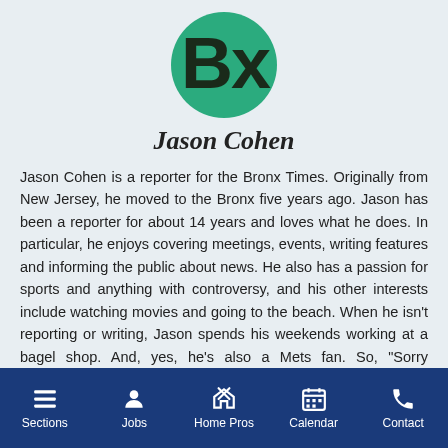[Figure (logo): Bronx Times 'Bx' logo — dark green circle with black letter B and x on it]
Jason Cohen
Jason Cohen is a reporter for the Bronx Times. Originally from New Jersey, he moved to the Bronx five years ago. Jason has been a reporter for about 14 years and loves what he does. In particular, he enjoys covering meetings, events, writing features and informing the public about news. He also has a passion for sports and anything with controversy, and his other interests include watching movies and going to the beach. When he isn't reporting or writing, Jason spends his weekends working at a bagel shop. And, yes, he's also a Mets fan. So, "Sorry Bronxites."
Sections | Jobs | Home Pros | Calendar | Contact